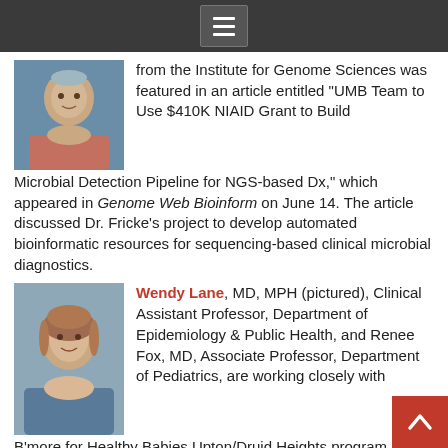Navigation menu icon
from the Institute for Genome Sciences was featured in an article entitled “UMB Team to Use $410K NIAID Grant to Build Microbial Detection Pipeline for NGS-based Dx,” which appeared in Genome Web Bioinform on June 14. The article discussed Dr. Fricke’s project to develop automated bioinformatic resources for sequencing-based clinical microbial diagnostics.
[Figure (photo): Headshot photo of a young man with short hair wearing a plaid shirt, against a blue background]
[Figure (photo): Headshot photo of a woman with reddish-brown hair, smiling, against a blue-grey background]
Wendy Lane, MD, MPH (pictured), Clinical Assistant Professor, Department of Epidemiology & Public Health, and Renee Fox, MD, Associate Professor, Department of Pediatrics, are working closely with B’more for Healthy Babies Upton/Druid Heights program, which was spotlighted in a story in the Baltimore Sun on August 30. B’more for Healthy Babies targets pregnant